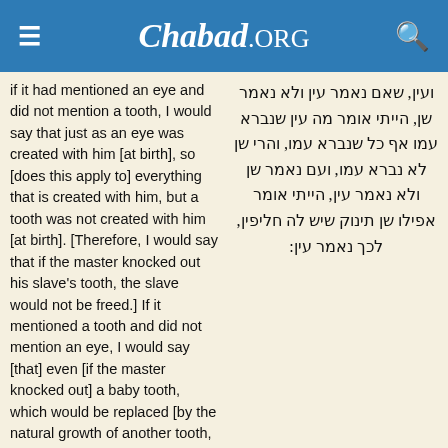Chabad.ORG
if it had mentioned an eye and did not mention a tooth, I would say that just as an eye was created with him [at birth], so [does this apply to] everything that is created with him, but a tooth was not created with him [at birth]. [Therefore, I would say that if the master knocked out his slave's tooth, the slave would not be freed.] If it mentioned a tooth and did not mention an eye, I would say [that] even [if the master knocked out] a baby tooth, which would be replaced [by the natural growth of another tooth, the slave would be freed]. Therefore, it mentions the eye [which cannot be replaced, to teach us that if the master knocks out a baby tooth, the slave is not
ועין, שאם נאמר עין ולא נאמר שן, הייתי אומר מה עין שנברא עמו אף כל שנברא עמו, והרי שן לא נברא עמו, ועם נאמר שן ולא נאמר עין, הייתי אומר אפילו שן תינוק שיש לה חליפין, לכך נאמר עין: